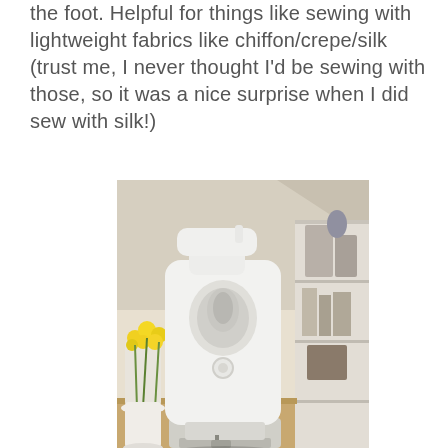the foot. Helpful for things like sewing with lightweight fabrics like chiffon/crepe/silk (trust me, I never thought I'd be sewing with those, so it was a nice surprise when I did sew with silk!)
[Figure (photo): Close-up front view of a white sewing machine on a wooden table, with yellow flowers and a bookshelf visible in the blurred background.]